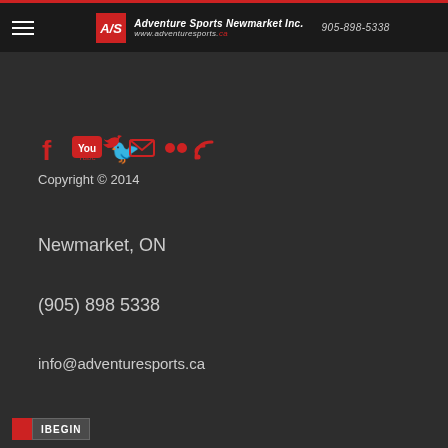Adventure Sports Newmarket Inc. www.adventuresports.ca 905-898-5338
[Figure (logo): Social media icons: Facebook, YouTube, Twitter, Email, Flickr, RSS feed - all in red]
Copyright © 2014
Newmarket, ON
(905) 898 5338
info@adventuresports.ca
IBEGIN